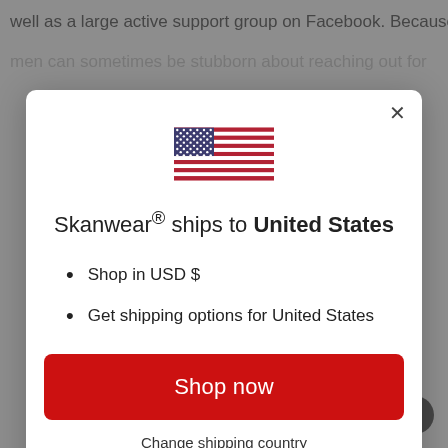well as a large active support group on Facebook. Because
men can sometimes be stubborn about reaching out for
[Figure (screenshot): Modal dialog popup showing US flag, text 'Skanwear® ships to United States', bullet points 'Shop in USD $' and 'Get shipping options for United States', a red 'Shop now' button, and a 'Change shipping country' link. Background shows a dimmed webpage.]
Skanwear® ships to United States
Shop in USD $
Get shipping options for United States